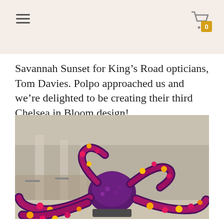Savannah Sunset for King’s Road opticians, Tom Davies. Polpo approached us and we’re delighted to be creating their third Chelsea in Bloom design!
[Figure (photo): A large floral octopus sculpture decorated with pink, red, yellow, and orange flowers displayed in an outdoor plaza with tables, chairs, and buildings in the background.]